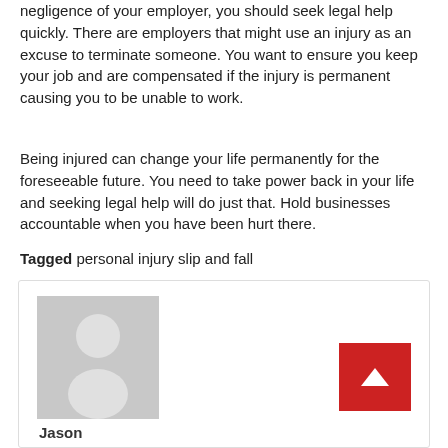negligence of your employer, you should seek legal help quickly. There are employers that might use an injury as an excuse to terminate someone. You want to ensure you keep your job and are compensated if the injury is permanent causing you to be unable to work.
Being injured can change your life permanently for the foreseeable future. You need to take power back in your life and seeking legal help will do just that. Hold businesses accountable when you have been hurt there.
Tagged personal injury slip and fall
[Figure (illustration): Author avatar placeholder with grey background showing a silhouette of a person, and a red scroll-to-top button with an upward arrow chevron. Below the image is the text 'Jason'.]